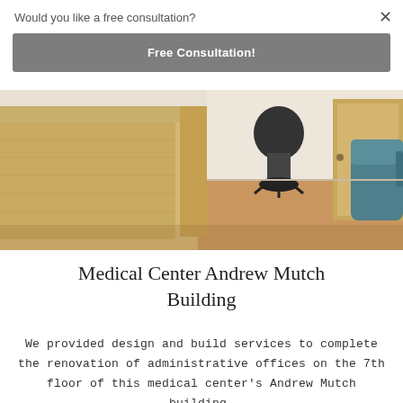Would you like a free consultation?
Free Consultation!
[Figure (photo): Interior photo of medical office reception area showing light wood reception desk, black office chair, teal armchair, wood doors, and hardwood flooring.]
Medical Center Andrew Mutch Building
We provided design and build services to complete the renovation of administrative offices on the 7th floor of this medical center's Andrew Mutch building.